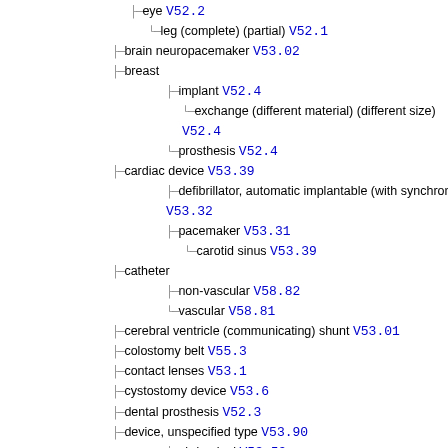eye V52.2
leg (complete) (partial) V52.1
brain neuropacemaker V53.02
breast
implant V52.4
exchange (different material) (different size) V52.4
prosthesis V52.4
cardiac device V53.39
defibrillator, automatic implantable (with synchronous cardiac pacemaker) V53.32
pacemaker V53.31
carotid sinus V53.39
catheter
non-vascular V58.82
vascular V58.81
cerebral ventricle (communicating) shunt V53.01
colostomy belt V55.3
contact lenses V53.1
cystostomy device V53.6
dental prosthesis V52.3
device, unspecified type V53.90
abdominal V53.59